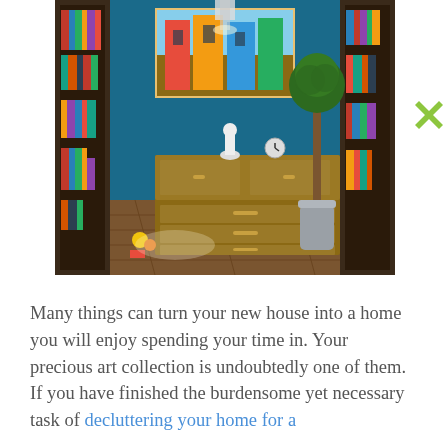[Figure (photo): Interior room photo showing a blue-painted wall with a colorful street art painting hanging on it, a wooden dresser/cabinet with drawers and decorative items on top (figurines, a clock), bookshelves on both sides filled with books, a tall potted topiary tree in a silver vase, and a wooden plank floor with toys/items on the floor. A lamp hangs from the ceiling.]
[Figure (other): Green X / close button icon]
Many things can turn your new house into a home you will enjoy spending your time in. Your precious art collection is undoubtedly one of them. If you have finished the burdensome yet necessary task of decluttering your home for a